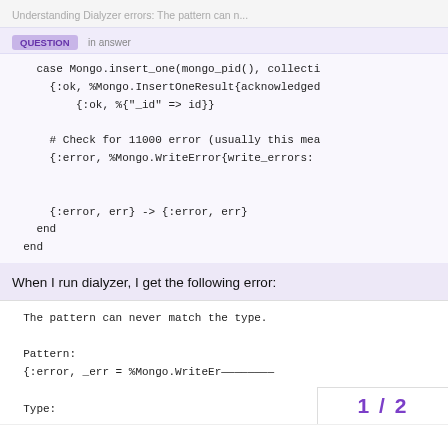Understanding Dialyzer errors: The pattern can n...
QUESTION  in answer
[Figure (screenshot): Code block showing Elixir case expression with Mongo.insert_one, InsertOneResult pattern match, error check comment, WriteError pattern, and end keywords]
When I run dialyzer, I get the following error:
[Figure (screenshot): Code block showing dialyzer error output: The pattern can never match the type. Pattern: {:error, _err = %Mongo.WriteEr... Type:]
1 / 2